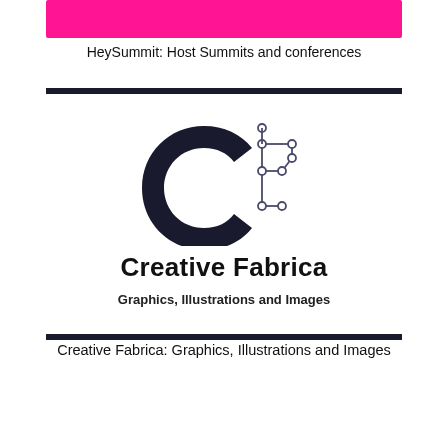[Figure (other): Hot pink rectangular banner bar at top of page]
HeySummit: Host Summits and conferences
[Figure (logo): Creative Fabrica logo: dark navy C letterform with geometric circuit-style F made of connected nodes and lines, followed by text 'Creative Fabrica' in bold black and 'Graphics, Illustrations and Images' in bold black below]
Creative Fabrica: Graphics, Illustrations and Images